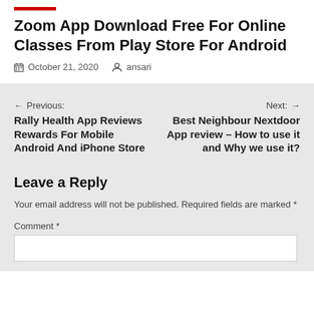Zoom App Download Free For Online Classes From Play Store For Android
📅 October 21, 2020  👤 ansari
← Previous: Rally Health App Reviews Rewards For Mobile Android And iPhone Store
Next: → Best Neighbour Nextdoor App review – How to use it and Why we use it?
Leave a Reply
Your email address will not be published. Required fields are marked *
Comment *